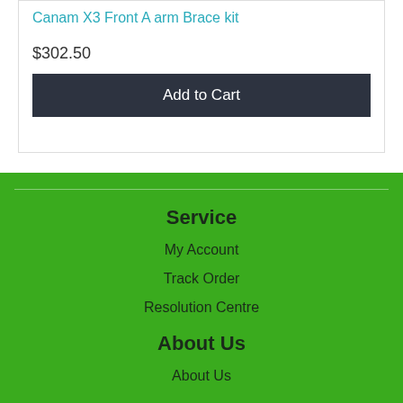Canam X3 Front A arm Brace kit
$302.50
Add to Cart
Service
My Account
Track Order
Resolution Centre
About Us
About Us